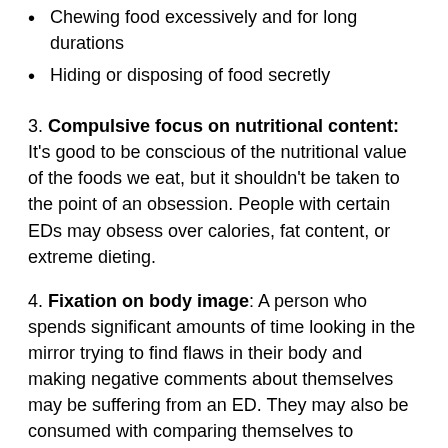Chewing food excessively and for long durations
Hiding or disposing of food secretly
3. Compulsive focus on nutritional content: It's good to be conscious of the nutritional value of the foods we eat, but it shouldn't be taken to the point of an obsession. People with certain EDs may obsess over calories, fat content, or extreme dieting.
4. Fixation on body image: A person who spends significant amounts of time looking in the mirror trying to find flaws in their body and making negative comments about themselves may be suffering from an ED. They may also be consumed with comparing themselves to celebrities with supposedly perfect bodies.